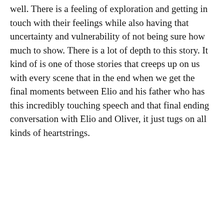well. There is a feeling of exploration and getting in touch with their feelings while also having that uncertainty and vulnerability of not being sure how much to show. There is a lot of depth to this story. It kind of is one of those stories that creeps up on us with every scene that in the end when we get the final moments between Elio and his father who has this incredibly touching speech and that final ending conversation with Elio and Oliver, it just tugs on all kinds of heartstrings.
Privacy & Cookies: This site uses cookies. By continuing to use this website, you agree to their use. To find out more, including how to control cookies, see here: Cookie Policy